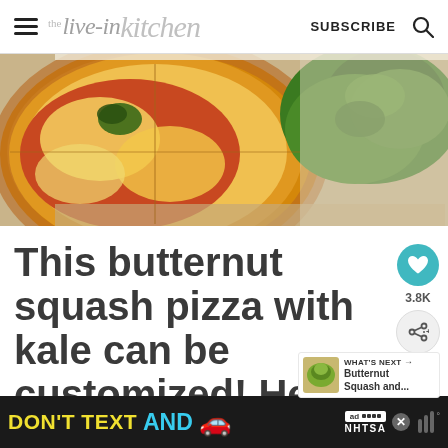the live-in kitchen — SUBSCRIBE 🔍
[Figure (photo): Close-up food photo of butternut squash pizza with kale on a wooden board. Shows pizza slices with orange/yellow squash topping and green kale on the right side.]
This butternut squash pizza with kale can be customized! Here
[Figure (other): Social sidebar with heart icon showing 3.8K likes and a share button]
[Figure (other): What's Next widget showing a thumbnail and text: Butternut Squash and...]
[Figure (other): Ad banner: DON'T TEXT AND [car emoji] — NHTSA advertisement with close button]